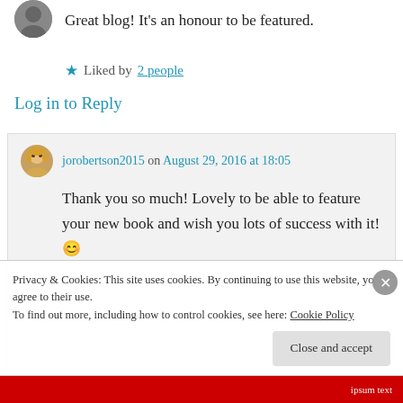[Figure (illustration): Circular avatar photo of a person (grayscale/dark), partially visible at top-left]
Great blog! It's an honour to be featured.
★ Liked by 2 people
Log in to Reply
[Figure (illustration): Circular avatar photo of a blonde woman (jorobertson2015)]
jorobertson2015 on August 29, 2016 at 18:05
Thank you so much! Lovely to be able to feature your new book and wish you lots of success with it! 😊
Privacy & Cookies: This site uses cookies. By continuing to use this website, you agree to their use.
To find out more, including how to control cookies, see here: Cookie Policy
Close and accept